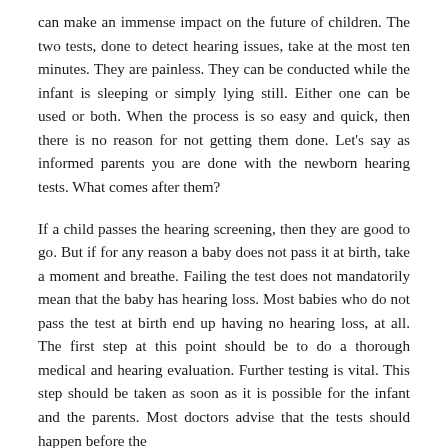can make an immense impact on the future of children. The two tests, done to detect hearing issues, take at the most ten minutes. They are painless. They can be conducted while the infant is sleeping or simply lying still. Either one can be used or both. When the process is so easy and quick, then there is no reason for not getting them done. Let's say as informed parents you are done with the newborn hearing tests. What comes after them?
If a child passes the hearing screening, then they are good to go. But if for any reason a baby does not pass it at birth, take a moment and breathe. Failing the test does not mandatorily mean that the baby has hearing loss. Most babies who do not pass the test at birth end up having no hearing loss, at all. The first step at this point should be to do a thorough medical and hearing evaluation. Further testing is vital. This step should be taken as soon as it is possible for the infant and the parents. Most doctors advise that the tests should happen before the